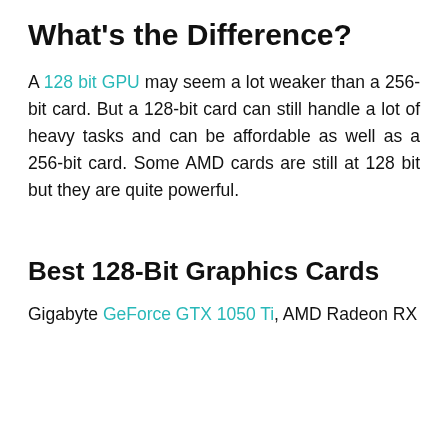What's the Difference?
A 128 bit GPU may seem a lot weaker than a 256-bit card. But a 128-bit card can still handle a lot of heavy tasks and can be affordable as well as a 256-bit card. Some AMD cards are still at 128 bit but they are quite powerful.
Best 128-Bit Graphics Cards
Gigabyte GeForce GTX 1050 Ti, AMD Radeon RX